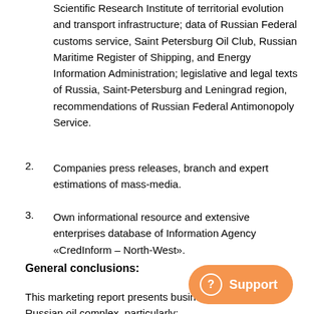Scientific Research Institute of territorial evolution and transport infrastructure; data of Russian Federal customs service, Saint Petersburg Oil Club, Russian Maritime Register of Shipping, and Energy Information Administration; legislative and legal texts of Russia, Saint-Petersburg and Leningrad region, recommendations of Russian Federal Antimonopoly Service.
Companies press releases, branch and expert estimations of mass-media.
Own informational resource and extensive enterprises database of Information Agency «CredInform – North-West».
General conclusions:
This marketing report presents business p... sectors of Russian oil complex, particularly: